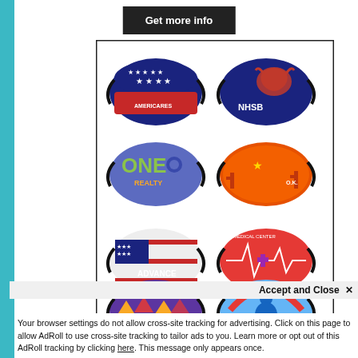Get more info
[Figure (photo): Grid of 8 custom-printed face masks with various designs including Americares patriotic, NHSB bull logo, One Realty purple, Arizona themed orange, Advance American flag, Medical Center red, Diff Inc purple geometric, and a blue medical cross design.]
Accept and Close ✕
Your browser settings do not allow cross-site tracking for advertising. Click on this page to allow AdRoll to use cross-site tracking to tailor ads to you. Learn more or opt out of this AdRoll tracking by clicking here. This message only appears once.